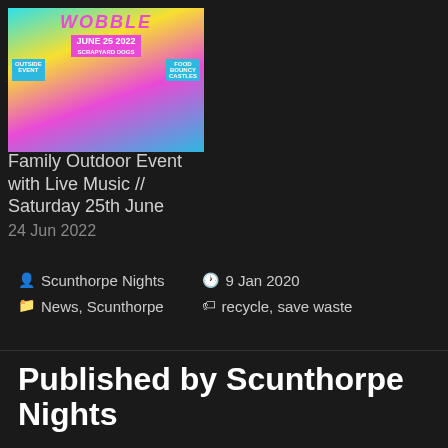[Figure (photo): Colorful event poster for a family outdoor event with live music on Saturday 25th June 2022, showing JUNE 25 2022 date, SCRAPYARD DOGS, OUTSIDE EVENT, FOOD BOUNCY CASTLES badges]
Family Outdoor Event with Live Music // Saturday 25th June
24 Jun 2022
Scunthorpe Nights   9 Jan 2020
News, Scunthorpe   recycle, save waste
Published by Scunthorpe Nights
Volunteer run network to support our local area by showing what it has to offer. View more